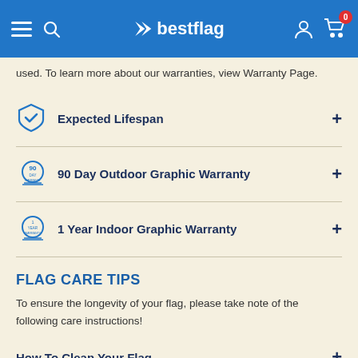bestflag
used. To learn more about our warranties, view Warranty Page.
Expected Lifespan
90 Day Outdoor Graphic Warranty
1 Year Indoor Graphic Warranty
FLAG CARE TIPS
To ensure the longevity of your flag, please take note of the following care instructions!
How To Clean Your Flag